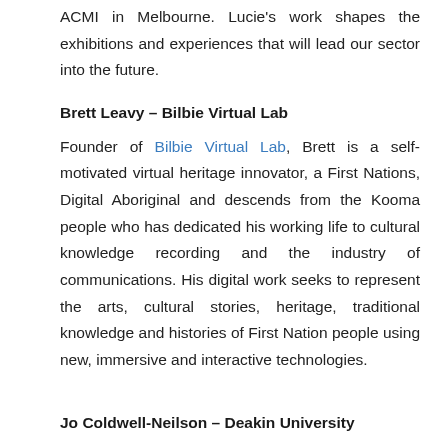ACMI in Melbourne. Lucie's work shapes the exhibitions and experiences that will lead our sector into the future.
Brett Leavy – Bilbie Virtual Lab
Founder of Bilbie Virtual Lab, Brett is a self-motivated virtual heritage innovator, a First Nations, Digital Aboriginal and descends from the Kooma people who has dedicated his working life to cultural knowledge recording and the industry of communications. His digital work seeks to represent the arts, cultural stories, heritage, traditional knowledge and histories of First Nation people using new, immersive and interactive technologies.
Jo Coldwell-Neilson – Deakin University